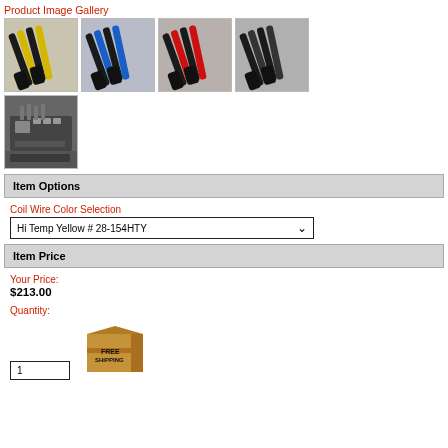Product Image Gallery
[Figure (photo): Product image gallery showing 5 photos of spark plug wire sets: yellow wires, blue wires, red wires, black wires, and an engine installation photo.]
Item Options
Coil Wire Color Selection
Hi Temp Yellow # 28-154HTY
Item Price
Your Price:
$213.00
Quantity:
1
[Figure (illustration): Free shipping cardboard box icon]